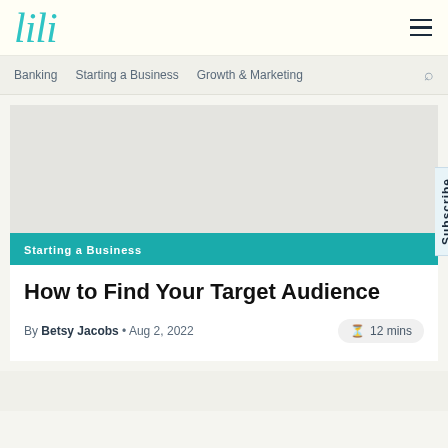lili
Banking  Starting a Business  Growth & Marketing
[Figure (photo): Light gray image placeholder area for article header image]
Starting a Business
How to Find Your Target Audience
By Betsy Jacobs • Aug 2, 2022     12 mins